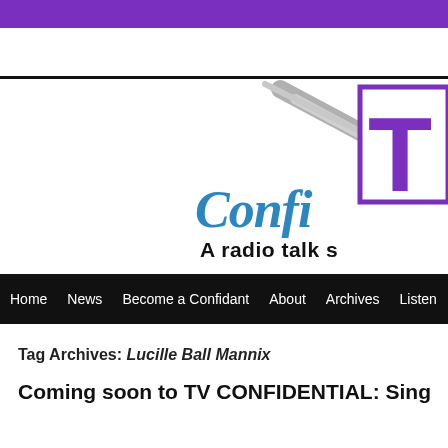[Figure (logo): TV Confidential radio talk show logo with stylized 'T' in purple border, 'Confi-' in blue cursive script, gray diagonal lines, and text 'A radio talk s...' below]
Home | News | Become a Confidant | About | Archives | Listen
Tag Archives: Lucille Ball Mannix
Coming soon to TV CONFIDENTIAL: Sing...